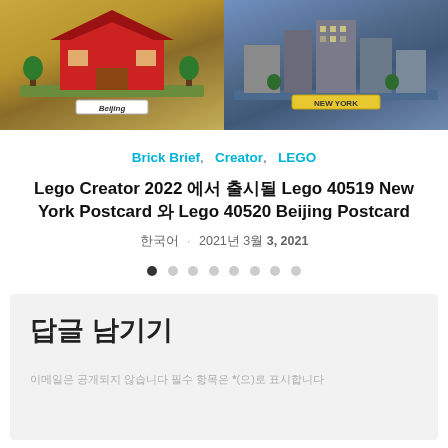[Figure (photo): Two LEGO Creator postcard sets side by side: left shows Lego 40520 Beijing Postcard with a red traditional Chinese building model on olive/gold background with a 'Beijing' sign; right shows Lego 40519 New York Postcard with a blue/grey cityscape model on blue background with a 'New York' sign.]
Brick Brief, Creator, LEGO
Lego Creator 2022 에서 출시될 Lego 40519 New York Postcard 와 Lego 40520 Beijing Postcard
한국어 · 2021년 3월 3, 2021
[Figure (other): Slideshow navigation dots: 8 dots, first one filled/dark, rest grey]
답글 남기기
이메일은 공개되지 않습니다 필수 항목은 *(으)로 표시합니다